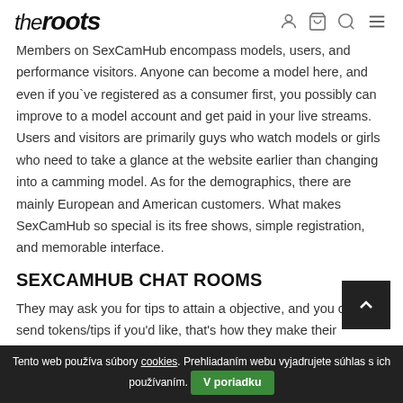theroots [logo with nav icons]
Members on SexCamHub encompass models, users, and performance visitors. Anyone can become a model here, and even if you`ve registered as a consumer first, you possibly can improve to a model account and get paid in your live streams. Users and visitors are primarily guys who watch models or girls who need to take a glance at the website earlier than changing into a camming model. As for the demographics, there are mainly European and American customers. What makes SexCamHub so special is its free shows, simple registration, and memorable interface.
SEXCAMHUB CHAT ROOMS
They may ask you for tips to attain a objective, and you can send tokens/tips if you'd like, that's how they make their money. hose goals are issues like 'Get naked' for 2,000 or mini-fuck s 2,000 tokens. You don't should ship them all , the idea is that guys
Tento web používa súbory cookies. Prehliadaním webu vyjadrujete súhlas s ich používaním. V poriadku